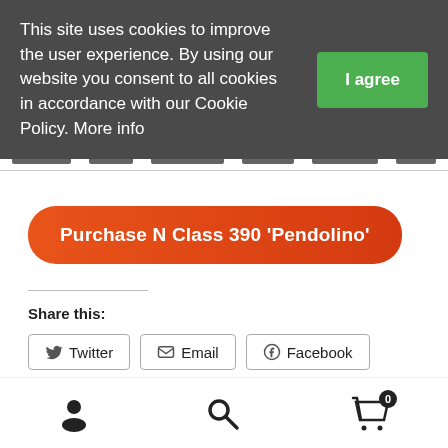This site uses cookies to improve the user experience. By using our website you consent to all cookies in accordance with our Cookie Policy. More info
I agree
Purchase N Class 390 'Pendolino'
Share this:
Twitter
Email
Facebook
Categories: 2mm, 4mm, Ecofret FWA, IWA, Pendolino